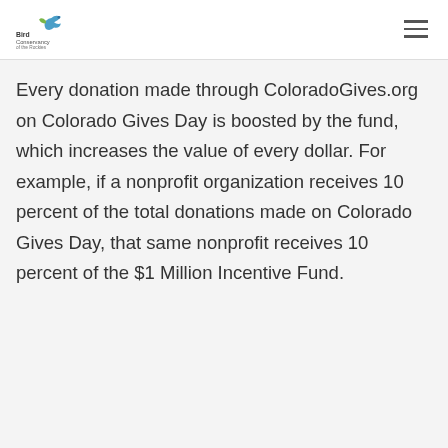Bird Conservancy of the Rockies
Every donation made through ColoradoGives.org on Colorado Gives Day is boosted by the fund, which increases the value of every dollar. For example, if a nonprofit organization receives 10 percent of the total donations made on Colorado Gives Day, that same nonprofit receives 10 percent of the $1 Million Incentive Fund.